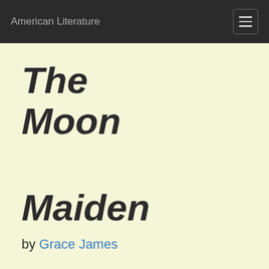American Literature
The Moon
Maiden
by Grace James